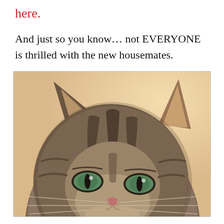here.
And just so you know… not EVERYONE is thrilled with the new housemates.
[Figure (photo): Close-up photograph of a tabby cat with green eyes, looking directly at the camera with a slightly grumpy or unimpressed expression. The cat has striped brown and grey fur with pointed ears visible at the top. The background is a soft beige/cream color. Only the top half of the cat's face is visible.]